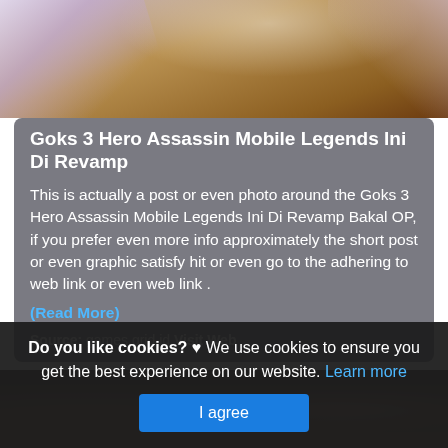[Figure (photo): Top portion of a game artwork image showing wings/feathers in purple and gold tones, likely Mobile Legends character art]
Goks 3 Hero Assassin Mobile Legends Ini Di Revamp
This is actually a post or even photo around the Goks 3 Hero Assassin Mobile Legends Ini Di Revamp Bakal OP, if you prefer even more info approximately the short post or even graphic satisfy hit or even go to the adhering to web link or even web link .
(Read More)
Source: games.grid.id Visit Web
[Figure (photo): Bottom partial image showing dark reddish-brown game character artwork, likely another Mobile Legends hero]
Do you like cookies? ♥ We use cookies to ensure you get the best experience on our website. Learn more
I agree